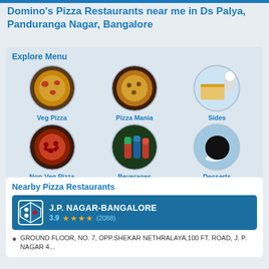Domino's Pizza Restaurants near me in Ds Palya, Panduranga Nagar, Bangalore
Explore Menu
[Figure (illustration): Veg Pizza circular menu item image]
Veg Pizza
[Figure (illustration): Pizza Mania circular menu item image]
Pizza Mania
[Figure (illustration): Sides circular menu item image]
Sides
[Figure (illustration): Non-Veg Pizza circular menu item image]
Non-Veg Pizza
[Figure (illustration): Beverages circular menu item image]
Beverages
[Figure (illustration): Desserts circular menu item image]
Desserts
Nearby Pizza Restaurants
J.P. NAGAR-BANGALORE
3.9 ★★★★ (2088)
GROUND FLOOR, NO. 7, OPP.SHEKAR NETHRALAYA,100 FT. ROAD, J. P. NAGAR 4...